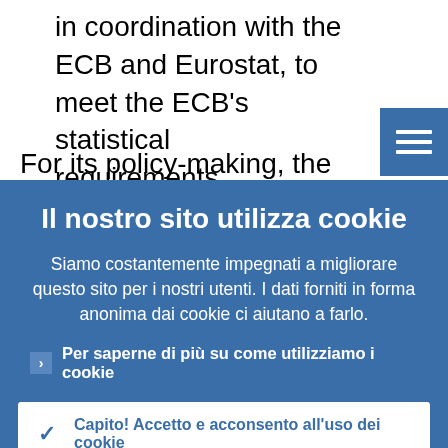in coordination with the ECB and Eurostat, to meet the ECB's statistical requirements.
For its policy-making, the ECB relies not only
Il nostro sito utilizza cookie
Siamo costantemente impegnati a migliorare questo sito per i nostri utenti. I dati forniti in forma anonima dai cookie ci aiutano a farlo.
Per saperne di più su come utilizziamo i cookie
Capito! Accetto e acconsento all'uso dei cookie
Non accetto e non acconsento all'uso dei cookie